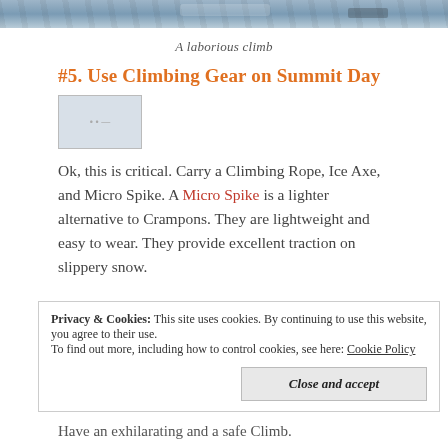[Figure (photo): Top portion of a mountain climbing photo showing snowy/rocky terrain]
A laborious climb
#5. Use Climbing Gear on Summit Day
[Figure (photo): Small embedded image placeholder]
Ok, this is critical. Carry a Climbing Rope, Ice Axe, and Micro Spike. A Micro Spike is a lighter alternative to Crampons. They are lightweight and easy to wear. They provide excellent traction on slippery snow.
Privacy & Cookies: This site uses cookies. By continuing to use this website, you agree to their use. To find out more, including how to control cookies, see here: Cookie Policy
Have an exhilarating and a safe Climb.